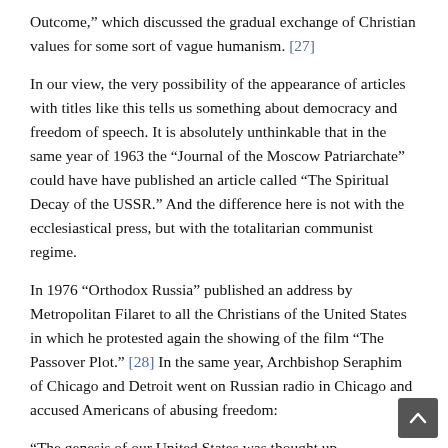Outcome," which discussed the gradual exchange of Christian values for some sort of vague humanism. [27]
In our view, the very possibility of the appearance of articles with titles like this tells us something about democracy and freedom of speech. It is absolutely unthinkable that in the same year of 1963 the “Journal of the Moscow Patriarchate” could have have published an article called “The Spiritual Decay of the USSR.” And the difference here is not with the ecclesiastical press, but with the totalitarian communist regime.
In 1976 “Orthodox Russia” published an address by Metropolitan Filaret to all the Christians of the United States in which he protested again the showing of the film “The Passover Plot.” [28] In the same year, Archbishop Seraphim of Chicago and Detroit went on Russian radio in Chicago and accused Americans of abusing freedom:
“The genesis of our United States was thought up